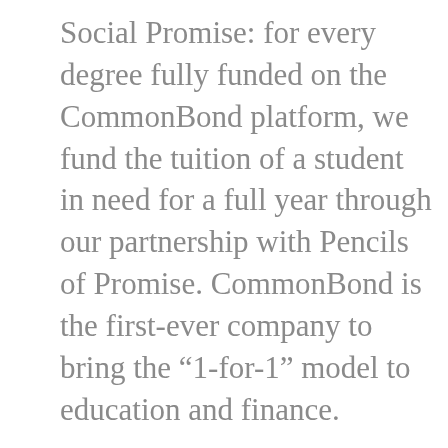Social Promise: for every degree fully funded on the CommonBond platform, we fund the tuition of a student in need for a full year through our partnership with Pencils of Promise. CommonBond is the first-ever company to bring the “1-for-1” model to education and finance.
Inspired by the likes of TOMS Shoes and Warby Parker, we firmly believe that business can and should be a positive force for change. By empowering our students and investors through our Social Promise,